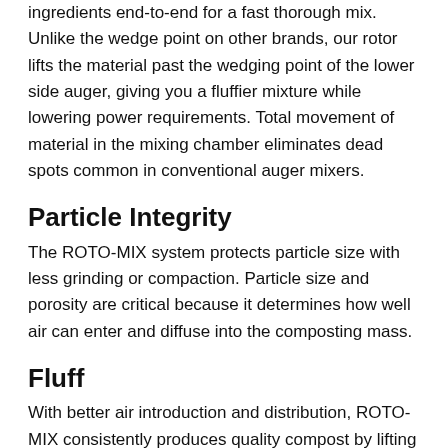ingredients end-to-end for a fast thorough mix. Unlike the wedge point on other brands, our rotor lifts the material past the wedging point of the lower side auger, giving you a fluffier mixture while lowering power requirements. Total movement of material in the mixing chamber eliminates dead spots common in conventional auger mixers.
Particle Integrity
The ROTO-MIX system protects particle size with less grinding or compaction. Particle size and porosity are critical because it determines how well air can enter and diffuse into the composting mass.
Fluff
With better air introduction and distribution, ROTO-MIX consistently produces quality compost by lifting the ingredients past the lower auger's wedge point, resulting in a fluffier mixture that starts to compost faster.